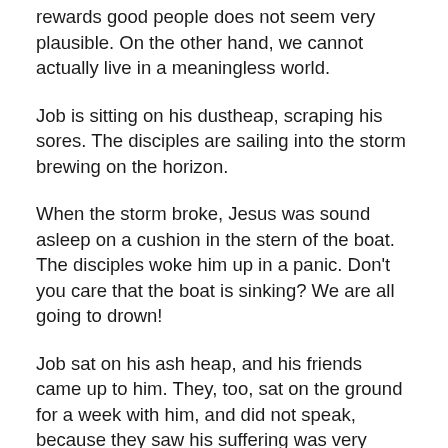rewards good people does not seem very plausible. On the other hand, we cannot actually live in a meaningless world.
Job is sitting on his dustheap, scraping his sores. The disciples are sailing into the storm brewing on the horizon.
When the storm broke, Jesus was sound asleep on a cushion in the stern of the boat. The disciples woke him up in a panic. Don't you care that the boat is sinking? We are all going to drown!
Job sat on his ash heap, and his friends came up to him. They, too, sat on the ground for a week with him, and did not speak, because they saw his suffering was very great.
When they did finally speak, it wasn't terrifically helpful. They all essentially play some variation on the theme of